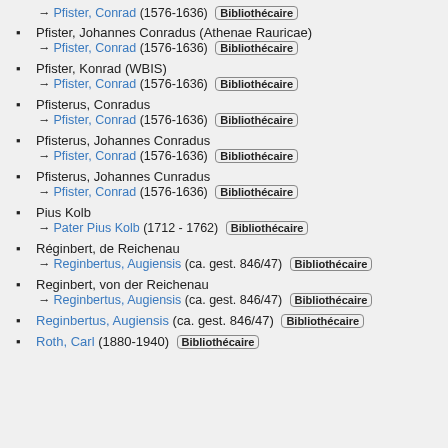→ Pfister, Conrad (1576-1636) [Bibliothécaire]
Pfister, Johannes Conradus (Athenae Rauricae)
→ Pfister, Conrad (1576-1636) [Bibliothécaire]
Pfister, Konrad (WBIS)
→ Pfister, Conrad (1576-1636) [Bibliothécaire]
Pfisterus, Conradus
→ Pfister, Conrad (1576-1636) [Bibliothécaire]
Pfisterus, Johannes Conradus
→ Pfister, Conrad (1576-1636) [Bibliothécaire]
Pfisterus, Johannes Cunradus
→ Pfister, Conrad (1576-1636) [Bibliothécaire]
Pius Kolb
→ Pater Pius Kolb (1712 - 1762) [Bibliothécaire]
Réginbert, de Reichenau
→ Reginbertus, Augiensis (ca. gest. 846/47) [Bibliothécaire]
Reginbert, von der Reichenau
→ Reginbertus, Augiensis (ca. gest. 846/47) [Bibliothécaire]
Reginbertus, Augiensis (ca. gest. 846/47) [Bibliothécaire]
Roth, Carl (1880-1940) [Bibliothécaire]